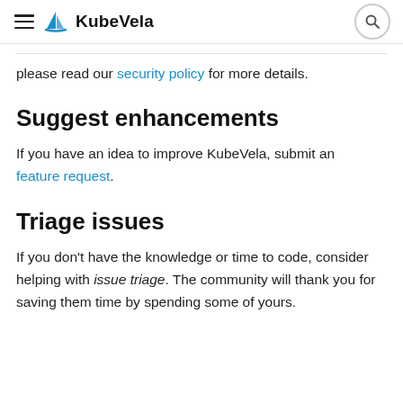KubeVela
please read our security policy for more details.
Suggest enhancements
If you have an idea to improve KubeVela, submit an feature request.
Triage issues
If you don't have the knowledge or time to code, consider helping with issue triage. The community will thank you for saving them time by spending some of yours.